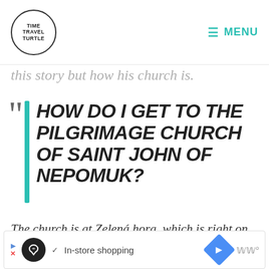Time Travel Turtle — MENU
this story but how his church is.
HOW DO I GET TO THE PILGRIMAGE CHURCH OF SAINT JOHN OF NEPOMUK?
The church is at Zelená hora, which is right on the edge of a city called Zdar nad Sazavou. The official address is Žďárské
[Figure (infographic): Advertisement bar with Infinity Loop icon, checkmark, 'In-store shopping' label, blue diamond navigation icon, and WW logo]